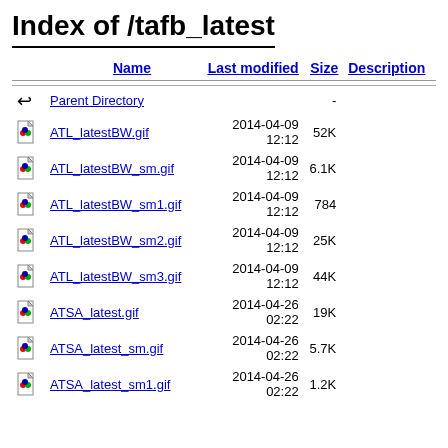Index of /tafb_latest
| Name | Last modified | Size | Description |
| --- | --- | --- | --- |
| Parent Directory |  | - |  |
| ATL_latestBW.gif | 2014-04-09 12:12 | 52K |  |
| ATL_latestBW_sm.gif | 2014-04-09 12:12 | 6.1K |  |
| ATL_latestBW_sm1.gif | 2014-04-09 12:12 | 784 |  |
| ATL_latestBW_sm2.gif | 2014-04-09 12:12 | 25K |  |
| ATL_latestBW_sm3.gif | 2014-04-09 12:12 | 44K |  |
| ATSA_latest.gif | 2014-04-26 02:22 | 19K |  |
| ATSA_latest_sm.gif | 2014-04-26 02:22 | 5.7K |  |
| ATSA_latest_sm1.gif | 2014-04-26 02:22 | 1.2K |  |